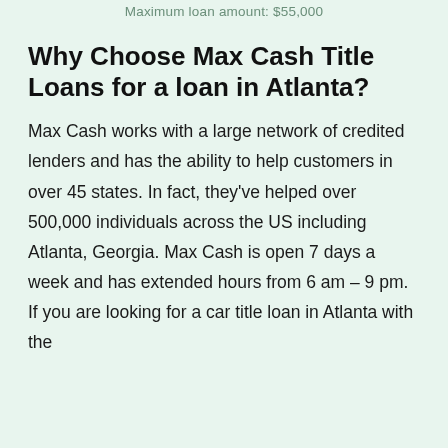Maximum loan amount: $55,000
Why Choose Max Cash Title Loans for a loan in Atlanta?
Max Cash works with a large network of credited lenders and has the ability to help customers in over 45 states. In fact, they’ve helped over 500,000 individuals across the US including Atlanta, Georgia. Max Cash is open 7 days a week and has extended hours from 6 am – 9 pm. If you are looking for a car title loan in Atlanta with the